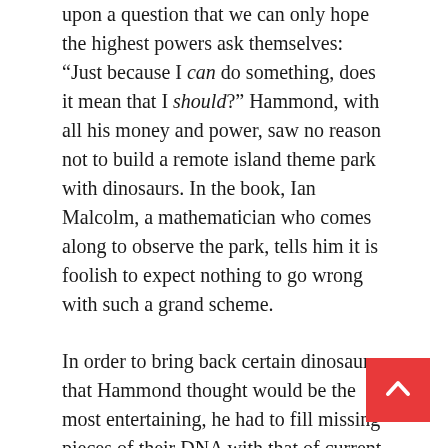upon a question that we can only hope the highest powers ask themselves: “Just because I can do something, does it mean that I should?” Hammond, with all his money and power, saw no reason not to build a remote island theme park with dinosaurs. In the book, Ian Malcolm, a mathematician who comes along to observe the park, tells him it is foolish to expect nothing to go wrong with such a grand scheme.
In order to bring back certain dinosaurs that Hammond thought would be the most entertaining, he had to fill missing pieces of their DNA with that of current animals’. While appearing to work perfectly, this is the catalyst for the park’s failure. The animal DNA produces a host of unexpected side effects. Hammond, clearly enamoured with his ability to manipulate the DNA